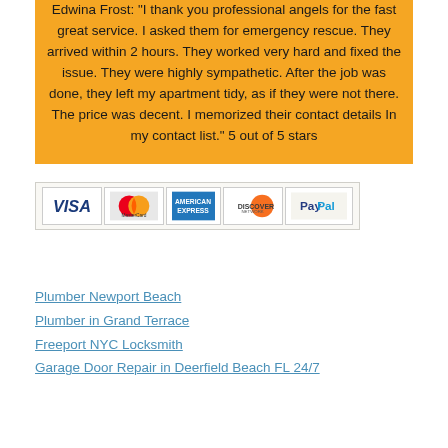Edwina Frost: "I thank you professional angels for the fast great service. I asked them for emergency rescue. They arrived within 2 hours. They worked very hard and fixed the issue. They were highly sympathetic. After the job was done, they left my apartment tidy, as if they were not there. The price was decent. I memorized their contact details In my contact list." 5 out of 5 stars
[Figure (other): Payment method logos: VISA, MasterCard, American Express, Discover, PayPal]
Plumber Newport Beach
Plumber in Grand Terrace
Freeport NYC Locksmith
Garage Door Repair in Deerfield Beach FL 24/7